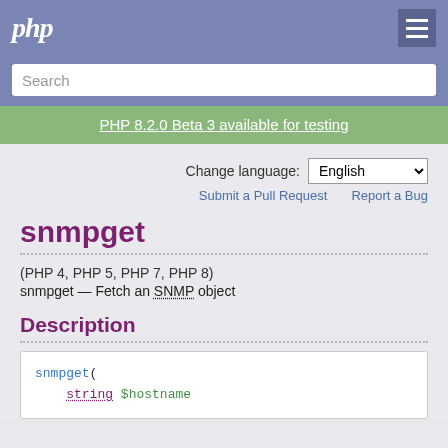php
Search
PHP 8.2.0 Beta 3 available for testing
Change language: English
Submit a Pull Request   Report a Bug
snmpget
(PHP 4, PHP 5, PHP 7, PHP 8)
snmpget — Fetch an SNMP object
Description
snmpget(
    string $hostname